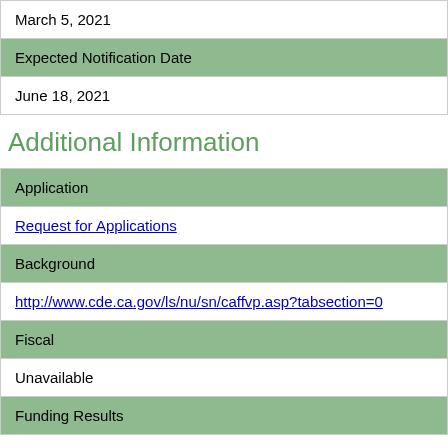| March 5, 2021 |
| Expected Notification Date |
| June 18, 2021 |
Additional Information
| Application |
| Request for Applications |
| Background |
| http://www.cde.ca.gov/ls/nu/sn/caffvp.asp?tabsection=0 |
| Fiscal |
| Unavailable |
| Funding Results |